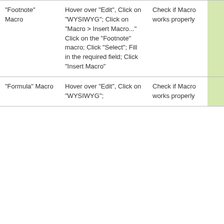| "Footnote" Macro | Hover over "Edit", Click on "WYSIWYG"; Click on "Macro > Insert Macro..." Click on the "Footnote" macro; Click "Select"; Fill in the required field; Click "Insert Macro" | Check if Macro works properly |  | - | - |
| "Formula" Macro | Hover over "Edit", Click on "WYSIWYG"; | Check if Macro works properly |  | - | - |